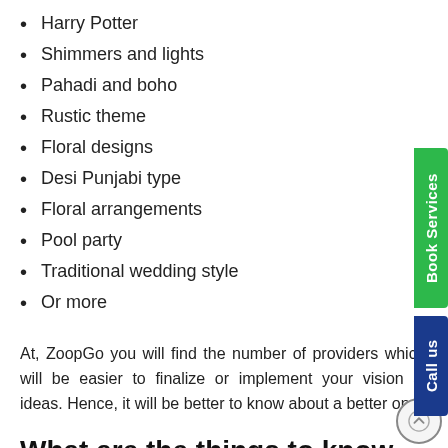Harry Potter
Shimmers and lights
Pahadi and boho
Rustic theme
Floral designs
Desi Punjabi type
Floral arrangements
Pool party
Traditional wedding style
Or more
At, ZoopGo you will find the number of providers which it will be easier to finalize or implement your vision and ideas. Hence, it will be better to know about a better one.
What are the things to know